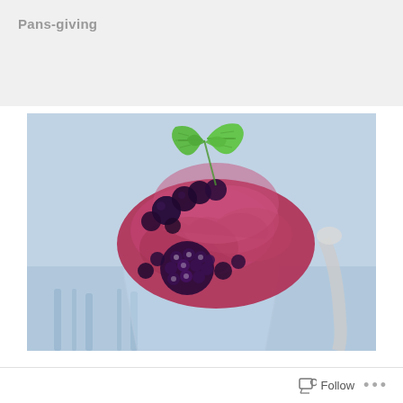Pans-giving
[Figure (photo): A glass dessert cup filled with berry frozen yogurt or ice cream, topped with fresh blackberries, dark cherries, and a sprig of fresh mint leaves. The background is a soft blue blurred surface with a spoon visible on the right side.]
Follow ...